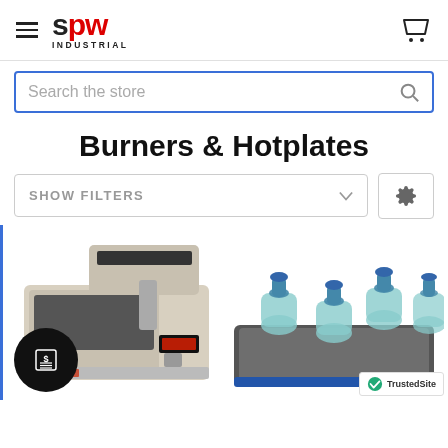SPW Industrial
Search the store
Burners & Hotplates
SHOW FILTERS
[Figure (photo): Hotplate device - a flat laboratory hotplate/stirrer instrument, beige and black, with digital display]
[Figure (photo): Laboratory orbital shaker/rocker platform with multiple blue-capped bottles/flasks placed on it]
[Figure (logo): TrustedSite badge with checkmark logo in bottom right corner]